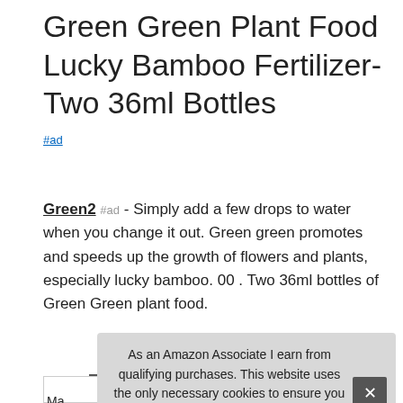Green Green Plant Food Lucky Bamboo Fertilizer- Two 36ml Bottles
#ad
Green2 #ad - Simply add a few drops to water when you change it out. Green green promotes and speeds up the growth of flowers and plants, especially lucky bamboo. 00 . Two 36ml bottles of Green Green plant food.
More information #ad
As an Amazon Associate I earn from qualifying purchases. This website uses the only necessary cookies to ensure you get the best experience on our website. More information